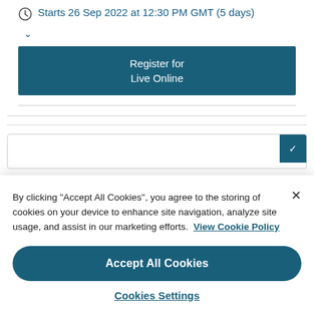Starts 26 Sep 2022 at 12:30 PM GMT (5 days)
Register for Live Online
By clicking "Accept All Cookies", you agree to the storing of cookies on your device to enhance site navigation, analyze site usage, and assist in our marketing efforts. View Cookie Policy
Accept All Cookies
Cookies Settings